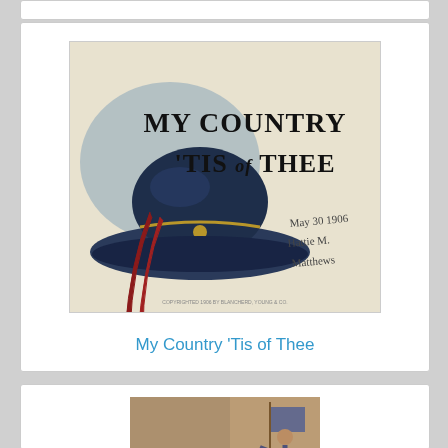[Figure (photo): Vintage postcard illustration showing a dark blue wide-brim hat with a gold cord and crossbow/cane, with text 'MY COUNTRY 'TIS OF THEE' in decorative lettering. Handwritten text reads 'May 30 1906 Hattie M. Matthews'. Copyright notice at bottom.]
My Country 'Tis of Thee
[Figure (photo): Vintage sepia-toned postcard showing a patriotic scene with a soldier or figure holding a flag, with other figures in the scene.]